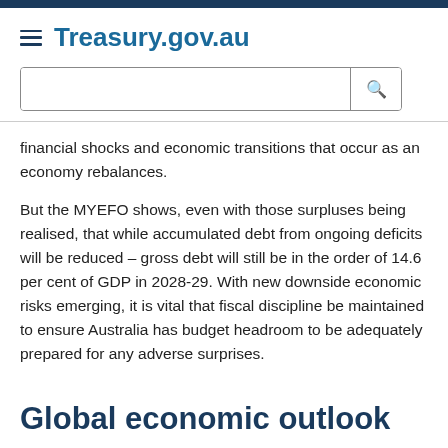Treasury.gov.au
financial shocks and economic transitions that occur as an economy rebalances.
But the MYEFO shows, even with those surpluses being realised, that while accumulated debt from ongoing deficits will be reduced – gross debt will still be in the order of 14.6 per cent of GDP in 2028-29. With new downside economic risks emerging, it is vital that fiscal discipline be maintained to ensure Australia has budget headroom to be adequately prepared for any adverse surprises.
Global economic outlook